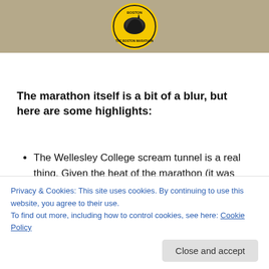[Figure (photo): Boston Marathon logo/badge centered on a tan/khaki background banner at the top of the page]
The marathon itself is a bit of a blur, but here are some highlights:
The Wellesley College scream tunnel is a real thing. Given the heat of the marathon (it was about 70 degrees at the start) and my already-fatigued legs,
Privacy & Cookies: This site uses cookies. By continuing to use this website, you agree to their use.
To find out more, including how to control cookies, see here: Cookie Policy
approached the half-way point. Apart from